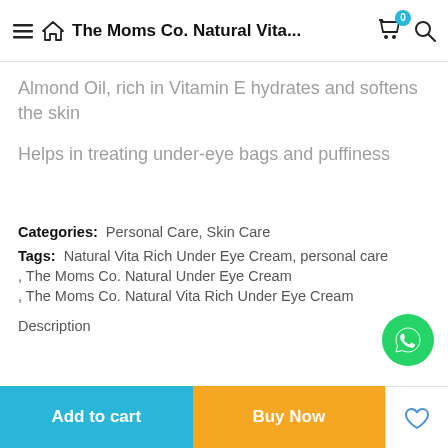The Moms Co. Natural Vita...
Almond Oil, rich in Vitamin E hydrates and softens the skin
Helps in treating under-eye bags and puffiness
Categories:  Personal Care, Skin Care
Tags:  Natural Vita Rich Under Eye Cream, personal care
, The Moms Co. Natural Under Eye Cream
, The Moms Co. Natural Vita Rich Under Eye Cream
Description  +
Add to cart  Buy Now